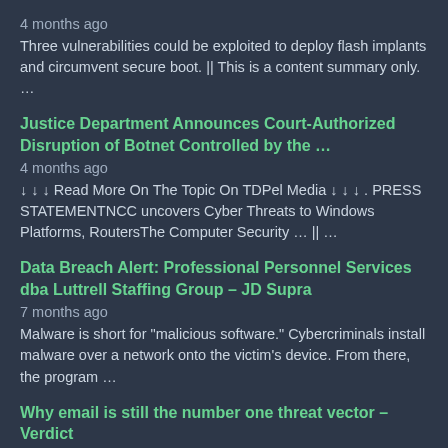4 months ago
Three vulnerabilities could be exploited to deploy flash implants and circumvent secure boot. || This is a content summary only. …
Justice Department Announces Court-Authorized Disruption of Botnet Controlled by the …
4 months ago
↓ ↓ ↓ Read More On The Topic On TDPel Media ↓ ↓ ↓ . PRESS STATEMENTNCC uncovers Cyber Threats to Windows Platforms, RoutersThe Computer Security … || …
Data Breach Alert: Professional Personnel Services dba Luttrell Staffing Group – JD Supra
7 months ago
Malware is short for "malicious software." Cybercriminals install malware over a network onto the victim's device. From there, the program …
Why email is still the number one threat vector – Verdict
4 days ago
Companies spend billions on cybersecurity protection for corporate networks from intrusion, hacking, malware, and